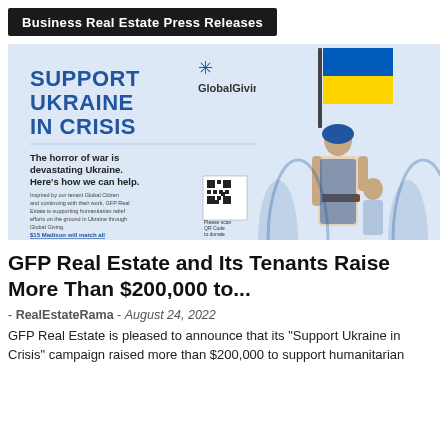Business Real Estate Press Releases
[Figure (illustration): Support Ukraine in Crisis campaign poster by GFP Real Estate and GlobalGiving. Features bold blue text 'SUPPORT UKRAINE IN CRISIS', GlobalGiving logo, QR code, text about humanitarian relief efforts, and a blue illustration of a woman holding a Ukrainian flag (blue and yellow) with figures behind her.]
GFP Real Estate and Its Tenants Raise More Than $200,000 to...
- RealEstateRama - August 24, 2022
GFP Real Estate is pleased to announce that its "Support Ukraine in Crisis" campaign raised more than $200,000 to support humanitarian